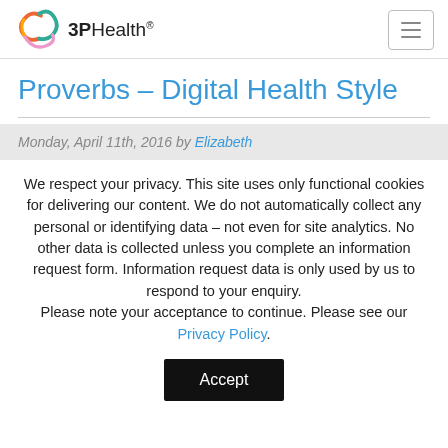3PHealth
Proverbs – Digital Health Style
Monday, April 11th, 2016 by Elizabeth
We respect your privacy. This site uses only functional cookies for delivering our content. We do not automatically collect any personal or identifying data – not even for site analytics. No other data is collected unless you complete an information request form. Information request data is only used by us to respond to your enquiry. Please note your acceptance to continue. Please see our Privacy Policy.
Accept